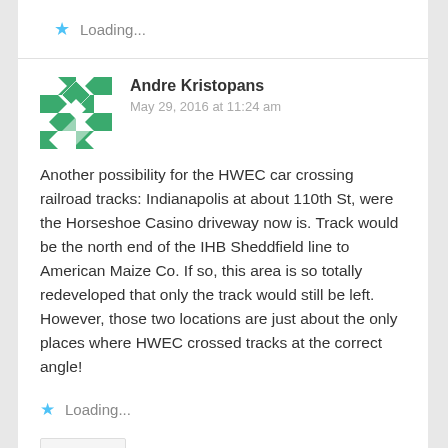Loading...
Andre Kristopans
May 29, 2016 at 11:24 am
Another possibility for the HWEC car crossing railroad tracks: Indianapolis at about 110th St, were the Horseshoe Casino driveway now is. Track would be the north end of the IHB Sheddfield line to American Maize Co. If so, this area is so totally redeveloped that only the track would still be left. However, those two locations are just about the only places where HWEC crossed tracks at the correct angle!
Loading...
REPLY
thetrolleydodger